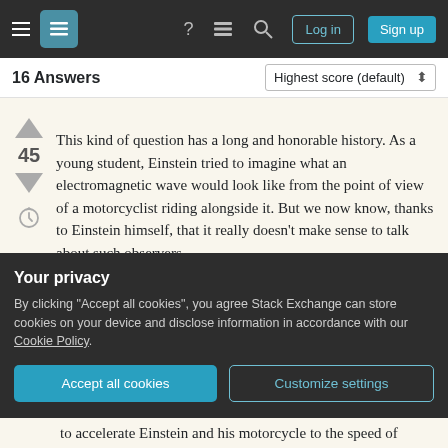Stack Exchange navigation bar with hamburger menu, logo, help, chat, search, Log in, Sign up buttons
16 Answers
This kind of question has a long and honorable history. As a young student, Einstein tried to imagine what an electromagnetic wave would look like from the point of view of a motorcyclist riding alongside it. But we now know, thanks to Einstein himself, that it really doesn't make sense to talk about such observers.

The most straightforward argument is based on the positivist idea that concepts only mean something if you
Your privacy
By clicking "Accept all cookies", you agree Stack Exchange can store cookies on your device and disclose information in accordance with our Cookie Policy.
to accelerate Einstein and his motorcycle to the speed of